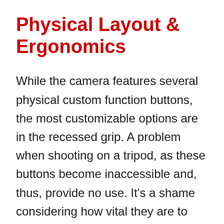Physical Layout & Ergonomics
While the camera features several physical custom function buttons, the most customizable options are in the recessed grip. A problem when shooting on a tripod, as these buttons become inaccessible and, thus, provide no use. It’s a shame considering how vital they are to adding customization to the camera.